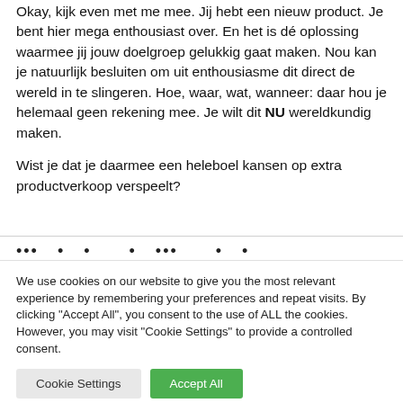Okay, kijk even met me mee. Jij hebt een nieuw product. Je bent hier mega enthousiast over. En het is dé oplossing waarmee jij jouw doelgroep gelukkig gaat maken. Nou kan je natuurlijk besluiten om uit enthousiasme dit direct de wereld in te slingeren. Hoe, waar, wat, wanneer: daar hou je helemaal geen rekening mee. Je wilt dit NU wereldkundig maken.
Wist je dat je daarmee een heleboel kansen op extra productverkoop verspeelt?
We use cookies on our website to give you the most relevant experience by remembering your preferences and repeat visits. By clicking "Accept All", you consent to the use of ALL the cookies. However, you may visit "Cookie Settings" to provide a controlled consent.